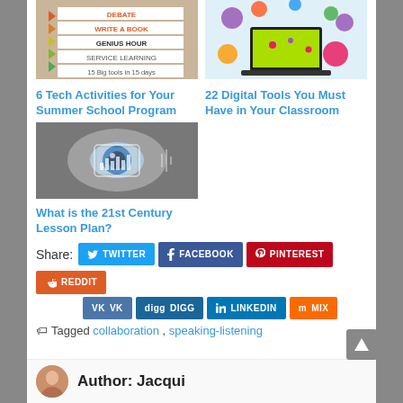[Figure (illustration): Infographic showing tech activities list with colorful arrows: DEBATE, WRITE A BOOK, GENIUS HOUR, SERVICE LEARNING, 15 Big tools in 15 days]
6 Tech Activities for Your Summer School Program
[Figure (illustration): Colorful illustration of a laptop with digital tool icons (gears, flowers) floating around it]
22 Digital Tools You Must Have in Your Classroom
[Figure (photo): Close-up photo of a human eye with digital/technology overlay graphics]
What is the 21st Century Lesson Plan?
Share: TWITTER FACEBOOK PINTEREST REDDIT VK DIGG LINKEDIN MIX
Tagged collaboration , speaking-listening
Author: Jacqui